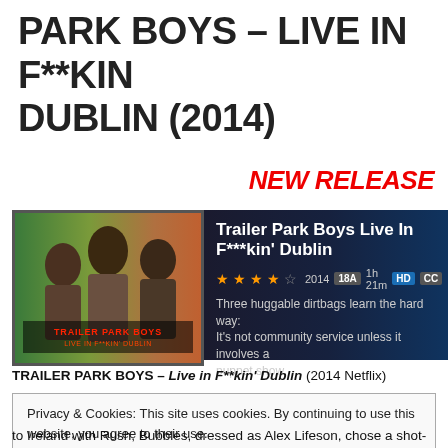PARK BOYS – LIVE IN F**KIN DUBLIN (2014)
NEW RELEASE
[Figure (screenshot): Screenshot of Trailer Park Boys Live In F**kin' Dublin Netflix listing showing movie poster on left and title card with star rating, year 2014, rating 18A, duration 1h 21m, HD and CC badges, and description text on right]
TRAILER PARK BOYS – Live in F**kin' Dublin (2014 Netflix)
Privacy & Cookies: This site uses cookies. By continuing to use this website, you agree to their use.
To find out more, including how to control cookies, see here: Cookie Policy
Close and accept
to Ireland with Rush, Bubbles, dressed as Alex Lifeson, chose a shot-